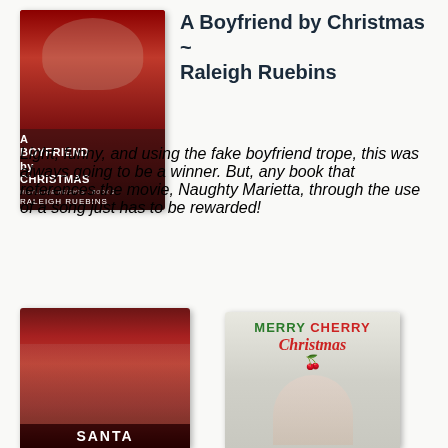[Figure (illustration): Book cover for 'A Boyfriend by Christmas' by Raleigh Ruebins. Red-toned cover with male figure and festive design.]
A Boyfriend by Christmas ~ Raleigh Ruebins
Light, funny, and using the fake boyfriend trope, this was always going to be a winner. But, any book that references the movie, Naughty Marietta, through the use of a song just has to be rewarded!
[Figure (illustration): Book cover featuring a shirtless man in a Santa hat. Title reads 'SANTA' at bottom.]
[Figure (illustration): Book cover for 'Merry Cherry Christmas' with cherries illustration and red-haired man with glasses.]